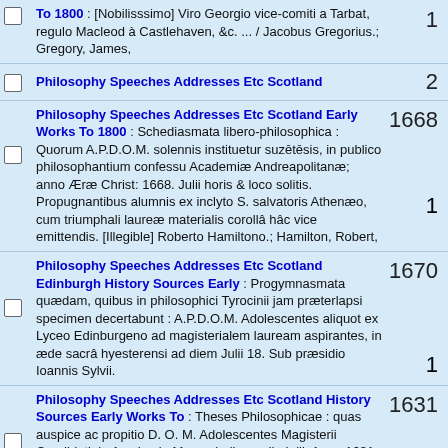To 1800 : [Nobilisssimo] Viro Georgio vice-comiti a Tarbat, regulo Macleod à Castlehaven, &c. ... / Jacobus Gregorius.; Gregory, James,
Philosophy Speeches Addresses Etc Scotland
Philosophy Speeches Addresses Etc Scotland Early Works To 1800 : Schediasmata libero-philosophica : Quorum A.P.D.O.M. solennis instituetur suzētēsis, in publico philosophantium confessu Academiæ Andreapolitanæ; anno Æræ Christ: 1668. Julii horis & loco solitis. Propugnantibus alumnis ex inclyto S. salvatoris Athenæo, cum triumphali laureæ materialis corollâ hâc vice emittendis. [Illegible] Roberto Hamiltono.; Hamilton, Robert,
Philosophy Speeches Addresses Etc Scotland Edinburgh History Sources Early : Progymnasmata quædam, quibus in philosophici Tyrocinii jam præterlapsi specimen decertabunt : A.P.D.O.M. Adolescentes aliquot ex Lyceo Edinburgeno ad magisterialem lauream aspirantes, in æde sacrâ hyesterensi ad diem Julii 18. Sub præsidio Ioannis Sylvii.
Philosophy Speeches Addresses Etc Scotland History Sources Early Works To : Theses Philosophicae : quas auspice ac propitio D. O. M. Adolescentes Magisterii Candidati, in Academia Mareschallana, die Iulii, Anno 1631. Publice propugnabunt, ab aurora ad meridiem. Præside